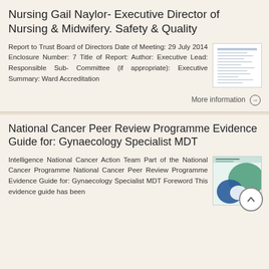Nursing Gail Naylor- Executive Director of Nursing & Midwifery. Safety & Quality
Report to Trust Board of Directors Date of Meeting: 29 July 2014 Enclosure Number: 7 Title of Report: Author: Executive Lead: Responsible Sub- Committee (if appropriate): Executive Summary: Ward Accreditation
More information →
National Cancer Peer Review Programme Evidence Guide for: Gynaecology Specialist MDT
Intelligence National Cancer Action Team Part of the National Cancer Programme National Cancer Peer Review Programme Evidence Guide for: Gynaecology Specialist MDT Foreword This evidence guide has been